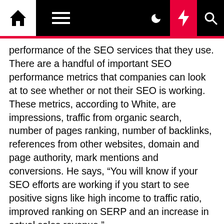[Navigation bar with home, menu, dark mode, lightning/flash, and search icons]
performance of the SEO services that they use. There are a handful of important SEO performance metrics that companies can look at to see whether or not their SEO is working. These metrics, according to White, are impressions, traffic from organic search, number of pages ranking, number of backlinks, references from other websites, domain and page authority, mark mentions and conversions. He says, “You will know if your SEO efforts are working if you start to see positive signs like high income to traffic ratio, improved ranking on SERP and an increase in actual sales revenue.”
Story continues
Some companies may be worried about the stability of SEO in 2021 due to everything that is going on in the world. I think some of the key… [But that]